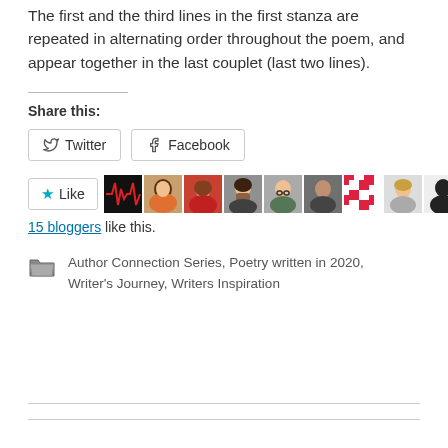The first and the third lines in the first stanza are repeated in alternating order throughout the poem, and appear together in the last couplet (last two lines).
Share this:
[Figure (screenshot): Twitter and Facebook share buttons]
[Figure (screenshot): Like button with star icon and row of 9 blogger avatars]
15 bloggers like this.
Author Connection Series, Poetry written in 2020, Writer's Journey, Writers Inspiration